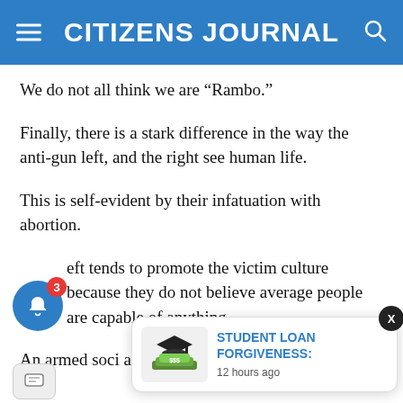CITIZENS JOURNAL
We do not all think we are “Rambo.”
Finally, there is a stark difference in the way the anti-gun left, and the right see human life.
This is self-evident by their infatuation with abortion.
...eft tends to promote the victim culture because they do not believe average people are capable of anything.
An armed soci... afraid of thems... nger they wa...
[Figure (screenshot): Notification popup: STUDENT LOAN FORGIVENESS: 12 hours ago, with mortarboard and money image]
[Figure (infographic): Notification bell icon with badge showing 3, and chat button overlay]